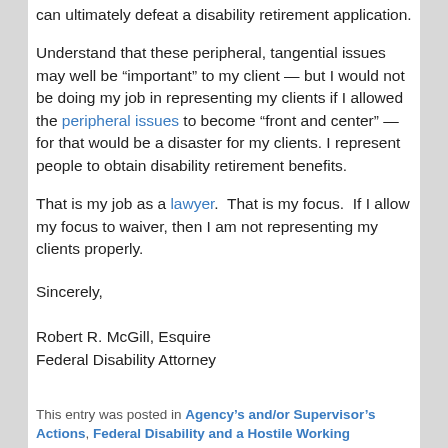can ultimately defeat a disability retirement application.
Understand that these peripheral, tangential issues may well be “important” to my client — but I would not be doing my job in representing my clients if I allowed the peripheral issues to become “front and center” — for that would be a disaster for my clients. I represent people to obtain disability retirement benefits.
That is my job as a lawyer.  That is my focus.  If I allow my focus to waiver, then I am not representing my clients properly.
Sincerely,
Robert R. McGill, Esquire
Federal Disability Attorney
This entry was posted in Agency’s and/or Supervisor’s Actions, Federal Disability and a Hostile Working...